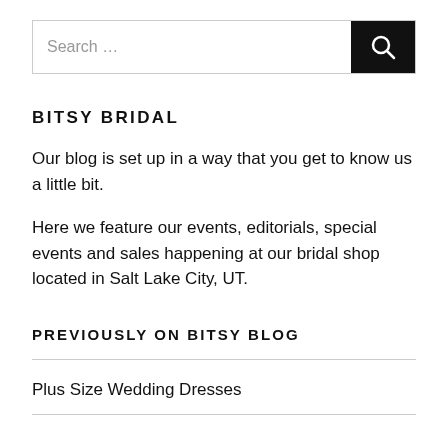Search …
BITSY BRIDAL
Our blog is set up in a way that you get to know us a little bit.
Here we feature our events, editorials, special events and sales happening at our bridal shop located in Salt Lake City, UT.
PREVIOUSLY ON BITSY BLOG
Plus Size Wedding Dresses